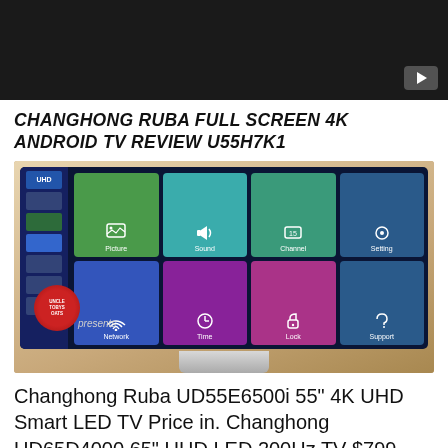[Figure (screenshot): Black video thumbnail with YouTube play button icon in bottom-right corner]
CHANGHONG RUBA FULL SCREEN 4K ANDROID TV REVIEW U55H7K1
[Figure (photo): Photo of a Changhong Ruba TV displaying its Android TV menu interface with tiles for Picture, Sound, Channel, Setting, Network, Time, Lock, and Support. Uncle Tobys logo visible in lower left.]
Changhong Ruba UD55E6500i 55" 4K UHD Smart LED TV Price in. Changhong UD65D4000 65" UHD LED 200Hz TV $799 (Was $1199) This is part